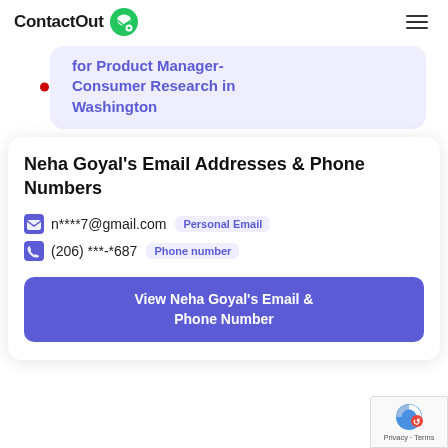ContactOut
for Product Manager- Consumer Research in Washington
Neha Goyal's Email Addresses & Phone Numbers
n****7@gmail.com  Personal Email
(206) ***-*687  Phone number
View Neha Goyal's Email & Phone Number